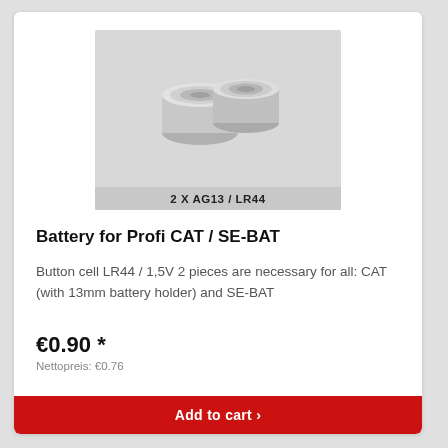[Figure (photo): Two round silver button cell batteries (AG13/LR44) on a gray background with label '2 X AG13 / LR44']
Battery for Profi CAT / SE-BAT
Button cell LR44 / 1,5V 2 pieces are necessary for all: CAT (with 13mm battery holder) and SE-BAT
€0.90 *
Nettopreis: €0.76